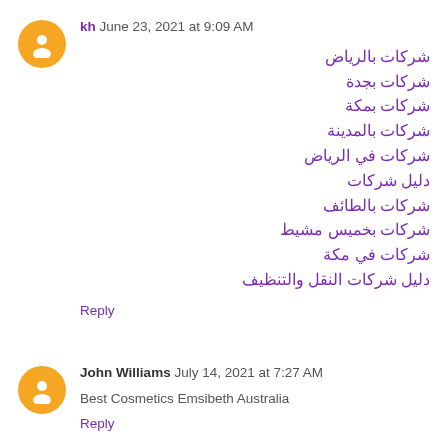kh June 23, 2021 at 9:09 AM
شركات بالرياض
شركات بجدة
شركات بمكة
شركات بالمدينة
شركات في الرياض
دليل شركات
شركات بالطائف
شركات بخميس مشيط
شركات في مكة
دليل شركات النقل والتنظيف
Reply
John Williams July 14, 2021 at 7:27 AM
Best Cosmetics Emsibeth Australia
Reply